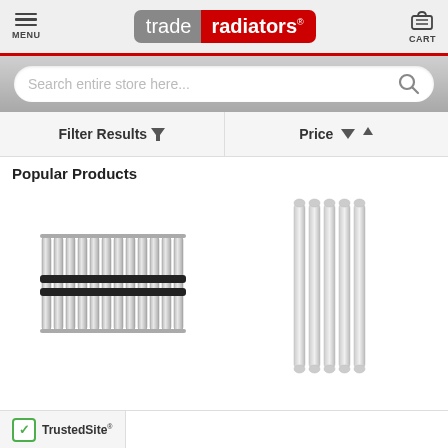[Figure (screenshot): Trade Radiators website header with menu icon, logo, and cart icon]
[Figure (screenshot): Search bar with placeholder text 'Search entire store here...' and search icon]
Filter Results ▼  |  Price  ∨ ↑
Popular Products
[Figure (photo): Horizontal chrome radiator with multiple vertical bars and two black horizontal rails]
[Figure (photo): Tall vertical white radiator with multiple slim vertical columns]
[Figure (logo): TrustedSite logo with green checkmark]